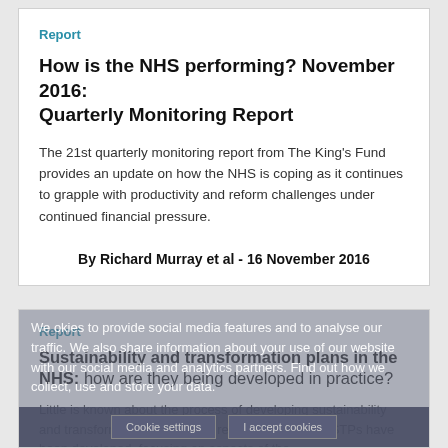Report
How is the NHS performing? November 2016: Quarterly Monitoring Report
The 21st quarterly monitoring report from The King's Fund provides an update on how the NHS is coping as it continues to grapple with productivity and reform challenges under continued financial pressure.
By Richard Murray et al - 16 November 2016
Report
Sustainability and transformation plans in the NHS: how are they being developed in practice?
Little is known about the process of developing sustainability and transformation plans. This report looks at how STPs have been developed, focusing on aspects of the...